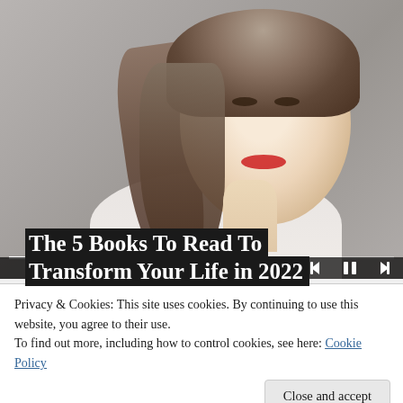[Figure (screenshot): Video player showing a portrait photo of a young woman with blonde hair, red lipstick, wearing white, against a grey background. Media controls (skip-back, pause, skip-forward) and a progress bar are visible at the bottom of the video frame.]
The 5 Books To Read To Transform Your Life in 2022
Privacy & Cookies: This site uses cookies. By continuing to use this website, you agree to their use.
To find out more, including how to control cookies, see here: Cookie Policy
[Figure (screenshot): Bottom strip showing partial view of books, dark green tones.]